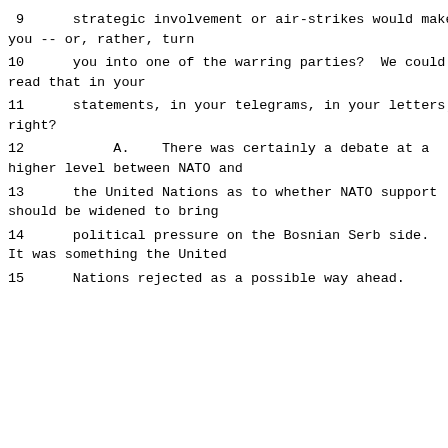9      strategic involvement or air-strikes would make you -- or, rather, turn
10      you into one of the warring parties?  We could read that in your
11      statements, in your telegrams, in your letters; right?
12           A.    There was certainly a debate at a higher level between NATO and
13      the United Nations as to whether NATO support should be widened to bring
14      political pressure on the Bosnian Serb side. It was something the United
15      Nations rejected as a possible way ahead.